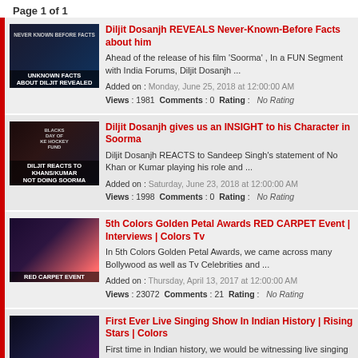Page 1 of 1
Diljit Dosanjh REVEALS Never-Known-Before Facts about him | Ahead of the release of his film 'Soorma', In a FUN Segment with India Forums, Diljit Dosanjh ... | Added on: Monday, June 25, 2018 at 12:00:00 AM | Views: 1981 Comments: 0 Rating: No Rating
Diljit Dosanjh gives us an INSIGHT to his Character in Soorma | Diljit Dosanjh REACTS to Sandeep Singh's statement of No Khan or Kumar playing his role and ... | Added on: Saturday, June 23, 2018 at 12:00:00 AM | Views: 1998 Comments: 0 Rating: No Rating
5th Colors Golden Petal Awards RED CARPET Event | Interviews | Colors Tv | In 5th Colors Golden Petal Awards, we came across many Bollywood as well as Tv Celebrities and ... | Added on: Thursday, April 13, 2017 at 12:00:00 AM | Views: 23072 Comments: 21 Rating: No Rating
First Ever Live Singing Show In Indian History | Rising Stars | Colors | First time in Indian history, we would be witnessing live singing show. In this singing show, ...